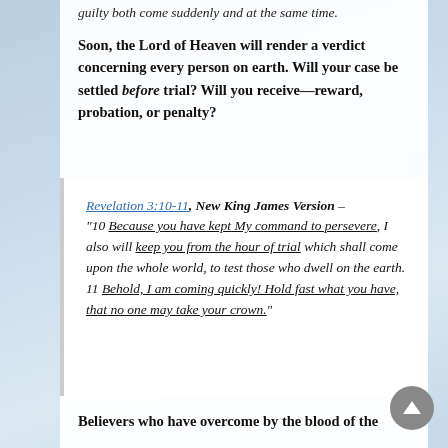guilty both come suddenly and at the same time.
Soon, the Lord of Heaven will render a verdict concerning every person on earth. Will your case be settled before trial? Will you receive—reward, probation, or penalty?
Revelation 3:10-11, New King James Version – “10 Because you have kept My command to persevere, I also will keep you from the hour of trial which shall come upon the whole world, to test those who dwell on the earth. 11 Behold, I am coming quickly! Hold fast what you have, that no one may take your crown.”
Believers who have overcome by the blood of the